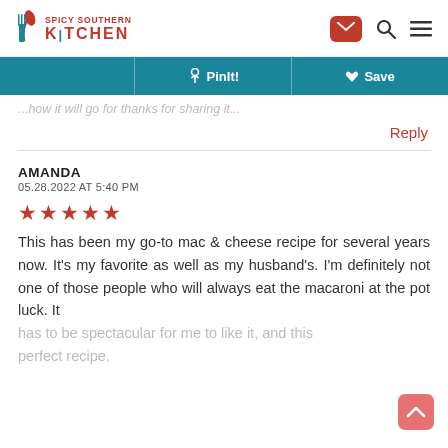Spicy Southern Kitchen — navigation header with mail, search, and menu icons
[Figure (infographic): Toolbar with teal background showing PinIt! and Save buttons]
...how it will go for thanks for sharing it...
Reply
AMANDA
05.28.2022 AT 5:40 PM
★★★★★
This has been my go-to mac & cheese recipe for several years now. It's my favorite as well as my husband's. I'm definitely not one of those people who will always eat the macaroni at the pot luck. It has to be spectacular for me to like it, and this is the perfect recipe.